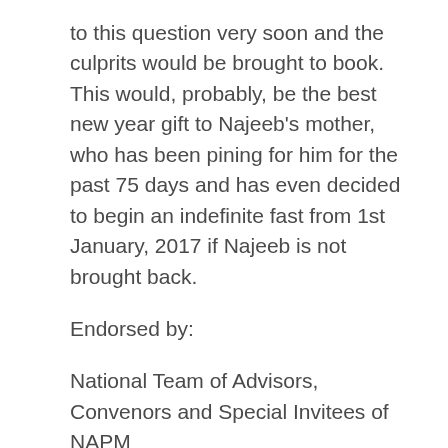to this question very soon and the culprits would be brought to book. This would, probably, be the best new year gift to Najeeb's mother, who has been pining for him for the past 75 days and has even decided to begin an indefinite fast from 1st January, 2017 if Najeeb is not brought back.
Endorsed by:
National Team of Advisors, Convenors and Special Invitees of NAPM
NAPM: Advisors and Special Invitees
Medha Patkar, Aruna Roy, Prafulla Samantara, Binayak Sen, Sandeep Pandey, Sudhir Vombatkere, Gabriele Dietrich, Geetha